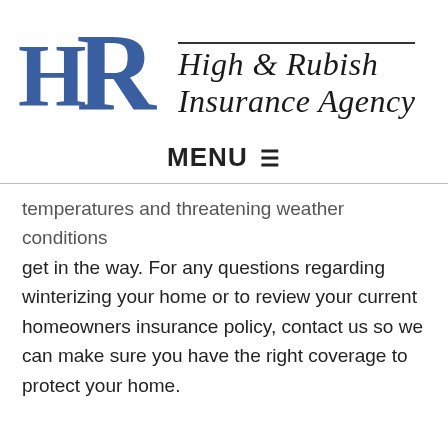[Figure (logo): High & Rubish Insurance Agency logo with stylized blue HR letters and italic serif text]
MENU ☰
temperatures and threatening weather conditions get in the way. For any questions regarding winterizing your home or to review your current homeowners insurance policy, contact us so we can make sure you have the right coverage to protect your home.